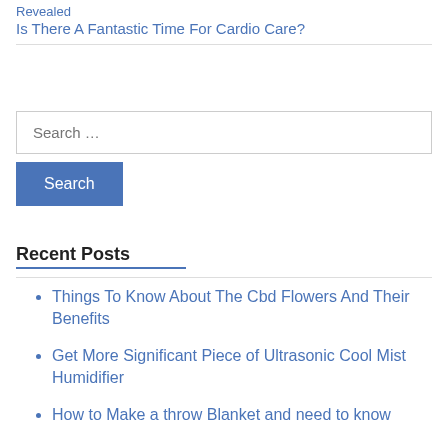Revealed
Is There A Fantastic Time For Cardio Care?
Search …
Search
Recent Posts
Things To Know About The Cbd Flowers And Their Benefits
Get More Significant Piece of Ultrasonic Cool Mist Humidifier
How to Make a throw Blanket and need to know